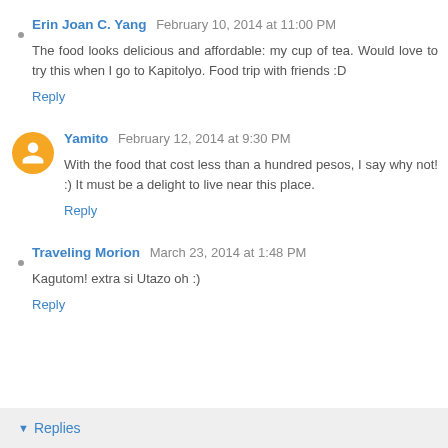Erin Joan C. Yang  February 10, 2014 at 11:00 PM
The food looks delicious and affordable: my cup of tea. Would love to try this when I go to Kapitolyo. Food trip with friends :D
Reply
Yamito  February 12, 2014 at 9:30 PM
With the food that cost less than a hundred pesos, I say why not! :) It must be a delight to live near this place.
Reply
Traveling Morion  March 23, 2014 at 1:48 PM
Kagutom! extra si Utazo oh :)
Reply
Replies